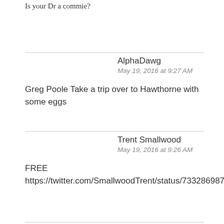Is your Dr a commie?
AlphaDawg
May 19, 2016 at 9:27 AM
Greg Poole Take a trip over to Hawthorne with some eggs
Trent Smallwood
May 19, 2016 at 9:26 AM
FREE
https://twitter.com/SmallwoodTrent/status/733286987944366080